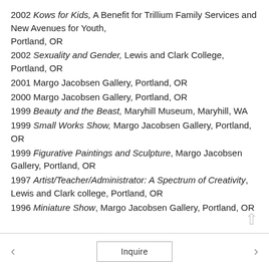2002 Kows for Kids, A Benefit for Trillium Family Services and New Avenues for Youth, Portland, OR
2002 Sexuality and Gender, Lewis and Clark College, Portland, OR
2001 Margo Jacobsen Gallery, Portland, OR
2000 Margo Jacobsen Gallery, Portland, OR
1999 Beauty and the Beast, Maryhill Museum, Maryhill, WA
1999 Small Works Show, Margo Jacobsen Gallery, Portland, OR
1999 Figurative Paintings and Sculpture, Margo Jacobsen Gallery, Portland, OR
1997 Artist/Teacher/Administrator: A Spectrum of Creativity, Lewis and Clark college, Portland, OR
1996 Miniature Show, Margo Jacobsen Gallery, Portland, OR
Inquire